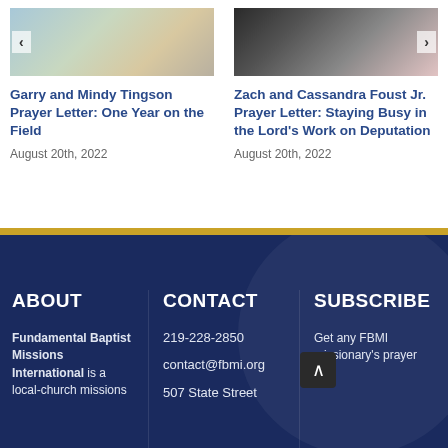[Figure (photo): Photo of Garry and Mindy Tingson family on beach, with navigation arrow]
Garry and Mindy Tingson Prayer Letter: One Year on the Field
August 20th, 2022
[Figure (photo): Photo of Zach and Cassandra Foust Jr. couple, with navigation arrow]
Zach and Cassandra Foust Jr. Prayer Letter: Staying Busy in the Lord's Work on Deputation
August 20th, 2022
ABOUT | CONTACT | SUBSCRIBE — Fundamental Baptist Missions International is a local-church missions — 219-228-2850 — contact@fbmi.org — 507 State Street — Get any FBMI missionary's prayer